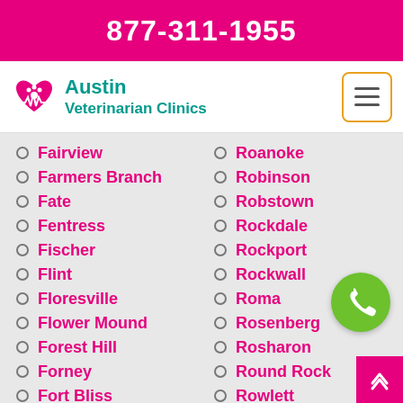877-311-1955
[Figure (logo): Austin Veterinarian Clinics logo with teal heart and paw icons]
Fairview
Farmers Branch
Fate
Fentress
Fischer
Flint
Floresville
Flower Mound
Forest Hill
Forney
Fort Bliss
Fort Hood
Roanoke
Robinson
Robstown
Rockdale
Rockport
Rockwall
Roma
Rosenberg
Rosharon
Round Rock
Rowlett
Royse City